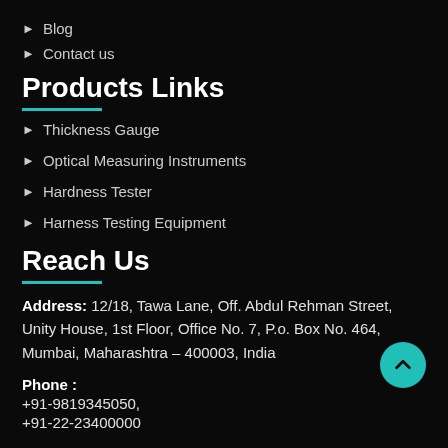▶ Blog
▶ Contact us
Products Links
▶ Thickness Gauge
▶ Optical Measuring Instruments
▶ Hardness Tester
▶ Harness Testing Equipment
Reach Us
Address: 12/18, Tawa Lane, Off. Abdul Rehman Street, Unity House, 1st Floor, Office No. 7, P.o. Box No. 464, Mumbai, Maharashtra – 400003, India
Phone:
+91-9819345050,
+91-22-23400000